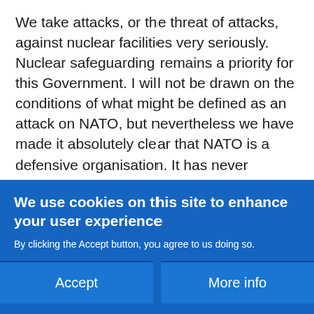We take attacks, or the threat of attacks, against nuclear facilities very seriously. Nuclear safeguarding remains a priority for this Government. I will not be drawn on the conditions of what might be defined as an attack on NATO, but nevertheless we have made it absolutely clear that NATO is a defensive organisation. It has never expanded by force or coercion. Our support to the Ukrainians is steadfast, but there is a clear dividing line between an attack on one
We use cookies on this site to enhance your user experience
By clicking the Accept button, you agree to us doing so.
Accept
More info